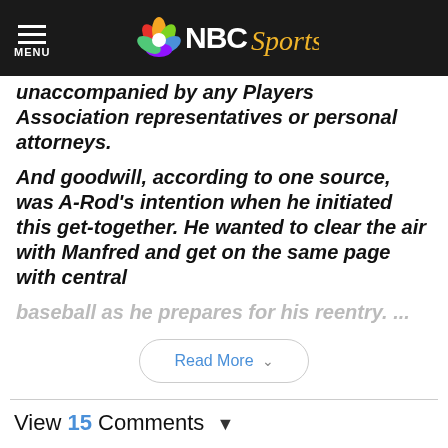NBC Sports
unaccompanied by any Players Association representatives or personal attorneys.
And goodwill, according to one source, was A-Rod’s intention when he initiated this get-together. He wanted to clear the air with Manfred and get on the same page with central baseball as he prepares for his reentry. ...
Read More
View 15 Comments